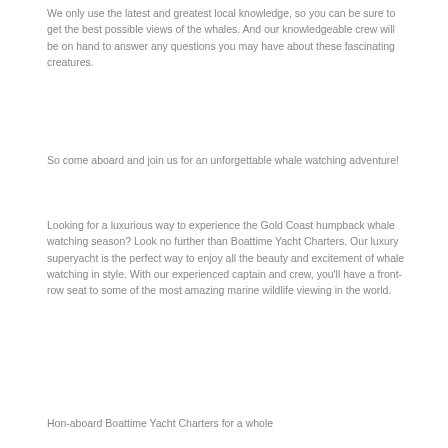We only use the latest and greatest local knowledge, so you can be sure to get the best possible views of the whales. And our knowledgeable crew will be on hand to answer any questions you may have about these fascinating creatures.
So come aboard and join us for an unforgettable whale watching adventure!
Looking for a luxurious way to experience the Gold Coast humpback whale watching season? Look no further than Boattime Yacht Charters. Our luxury superyacht is the perfect way to enjoy all the beauty and excitement of whale watching in style. With our experienced captain and crew, you'll have a front-row seat to some of the most amazing marine wildlife viewing in the world.
Hon-aboard Boattime Yacht Charters for a whole